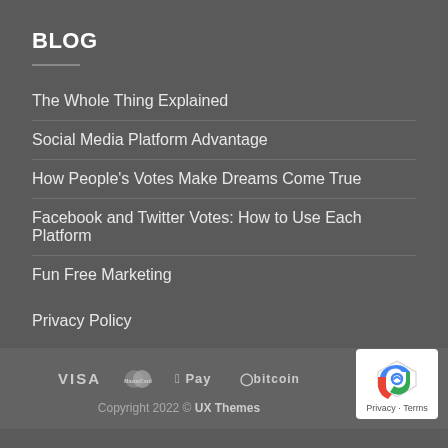BLOG
The Whole Thing Explained
Social Media Platform Advantage
How People's Votes Make Dreams Come True
Facebook and Twitter Votes: How to Use Each Platform
Fun Free Marketing
Privacy Policy
VISA  MasterCard  Apple Pay  bitcoin  Copyright 2022 © UX Themes  Privacy · Terms